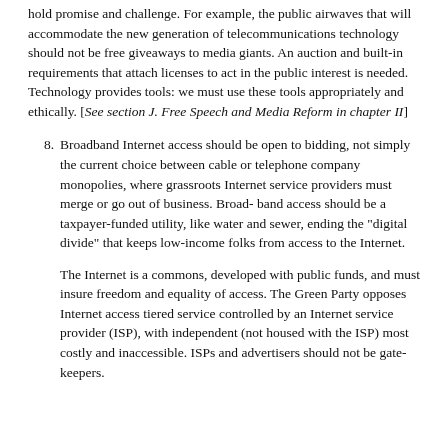hold promise and challenge. For example, the public airwaves that will accommodate the new generation of telecommunications technology should not be free giveaways to media giants. An auction and built-in requirements that attach licenses to act in the public interest is needed. Technology provides tools: we must use these tools appropriately and ethically. [See section J. Free Speech and Media Reform in chapter II]
8. Broadband Internet access should be open to bidding, not simply the current choice between cable or telephone company monopolies, where grassroots Internet service providers must merge or go out of business. Broad- band access should be a taxpayer-funded utility, like water and sewer, ending the "digital divide" that keeps low-income folks from access to the Internet.
The Internet is a commons, developed with public funds, and must insure freedom and equality of access. The Green Party opposes Internet access tiered service controlled by an Internet service provider (ISP), with independent (not housed with the ISP) most costly and inaccessible. ISPs and advertisers should not be gate- keepers.